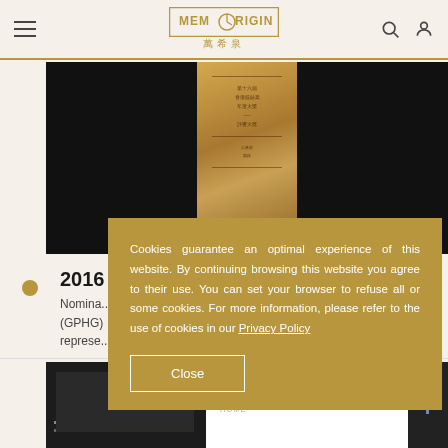MEMORIGIN 萬希泉 — navigation bar with logo
[Figure (photo): Award plaque on dark background, golden rectangular trophy with Chinese text]
2016
Nomina... (GPHG) ... represe...
[Figure (screenshot): Bottom strip showing Memorigin Stellar Series product page preview with dark left image and white right panel]
Cookies guarantee an optimal experience of this website. By continuing browsing this website you agree to their use. You can set your browser to refuse all or some cookies. For more information, please refer to the use of cookies in our Privacy Policy
Close